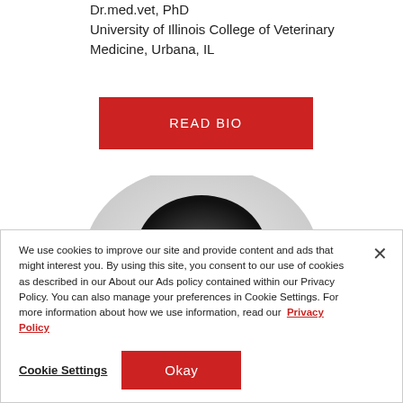Dr.med.vet, PhD
University of Illinois College of Veterinary Medicine, Urbana, IL
READ BIO
[Figure (photo): Partial view of a person's head/face photo, cropped at bottom of visible area]
We use cookies to improve our site and provide content and ads that might interest you. By using this site, you consent to our use of cookies as described in our About our Ads policy contained within our Privacy Policy. You can also manage your preferences in Cookie Settings. For more information about how we use information, read our Privacy Policy
Cookie Settings
Okay